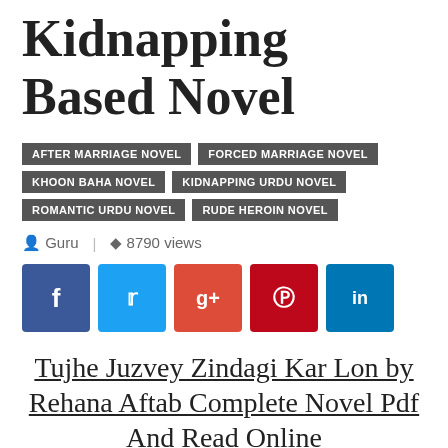Kidnapping Based Novel
AFTER MARRIAGE NOVEL
FORCED MARRIAGE NOVEL
KHOON BAHA NOVEL
KIDNAPPING URDU NOVEL
ROMANTIC URDU NOVEL
RUDE HEROIN NOVEL
Guru | 8790 views
[Figure (infographic): Row of social media share buttons: Facebook (blue), Twitter (light blue), Google+ (red-orange), Pinterest (red), LinkedIn (blue)]
Tujhe Juzvey Zindagi Kar Lon by Rehana Aftab Complete Novel Pdf And Read Online
Hello Novel Lovers, Here's Your Heart touching...